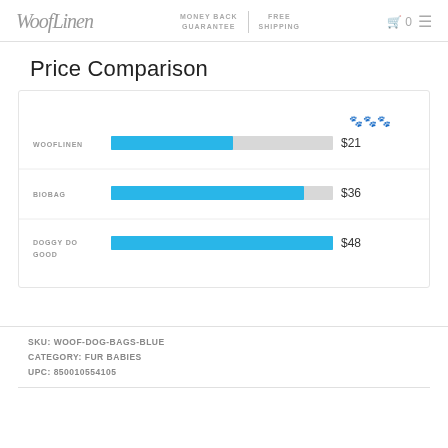WoofLinen | MONEY BACK GUARANTEE | FREE SHIPPING | Cart 0
Price Comparison
[Figure (bar-chart): Price Comparison]
SKU: WOOF-DOG-BAGS-BLUE
CATEGORY: FUR BABIES
UPC: 850010554105